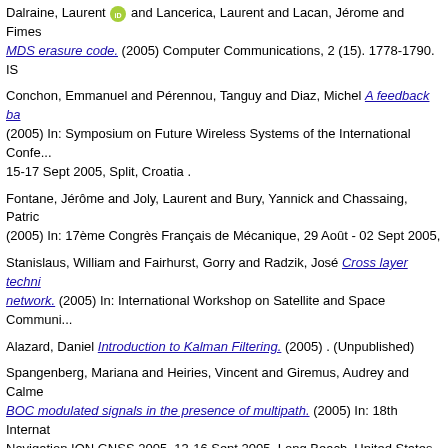Dalraine, Laurent and Lancerica, Laurent and Lacan, Jerome and Fimes... MDS erasure code. (2005) Computer Communications, 2 (15). 1778-1790.
Conchon, Emmanuel and Pérennou, Tanguy and Diaz, Michel A feedback ba... (2005) In: Symposium on Future Wireless Systems of the International Confe... 15-17 Sept 2005, Split, Croatia .
Fontane, Jérôme and Joly, Laurent and Bury, Yannick and Chassaing, Patric... (2005) In: 17ème Congrès Français de Mécanique, 29 Août - 02 Sept 2005,
Stanislaus, William and Fairhurst, Gorry and Radzik, José Cross layer techni... network. (2005) In: International Workshop on Satellite and Space Communi...
Alazard, Daniel Introduction to Kalman Filtering. (2005) . (Unpublished)
Spangenberg, Mariana and Heiries, Vincent and Giremus, Audrey and Calme... BOC modulated signals in the presence of multipath. (2005) In: 18th Internat... Navigation ION GNSS 2005, 13-16 Sept 2005, Long Beach, United States .
Tra, Ferdinand and Radzik, José and Bousquet, Michel and Combes, Stépha... telecommunications systems with adaptive links according to propagation co... Communications 2005 (IWSSC 2005), 08-09 Sept 2005, Siena, Italy .
Joly, Laurent and Fontane, Jérôme and Chassaing, Patrick The Rayleigh... Journal of Fluid Mechanics, 5. 415-431. ISSN 0022-1120
Saqui-Sannes, Pierre de Conception basée modèle des systèmes temps rée...
Radenac, Emmanuel and Gressier, Jérémie and Millan, Pierre and Giovann... codes en aérothermique. (2005) In: Congrès Français de Thermique, SFT 20...
Cazalbou, Jean-Bernard and Chassaing, Patrick and Dufour, Guillaume...